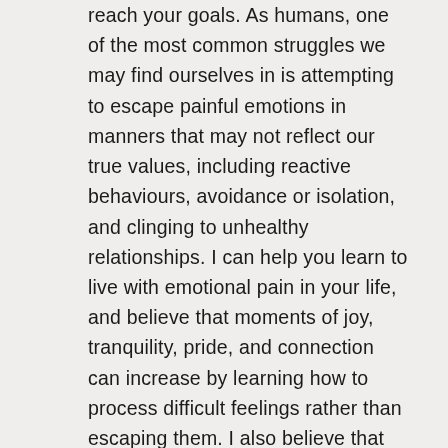reach your goals. As humans, one of the most common struggles we may find ourselves in is attempting to escape painful emotions in manners that may not reflect our true values, including reactive behaviours, avoidance or isolation, and clinging to unhealthy relationships. I can help you learn to live with emotional pain in your life, and believe that moments of joy, tranquility, pride, and connection can increase by learning how to process difficult feelings rather than escaping them. I also believe that so-called "negative" emotions, including sadness over loss, anger at injustice, and fear at threats to well-being, are helpful and appropriate in certain situations. Our emotions provide important information about the world around you, and too often, trying to turn off or suppress our emotions, that important quality can be